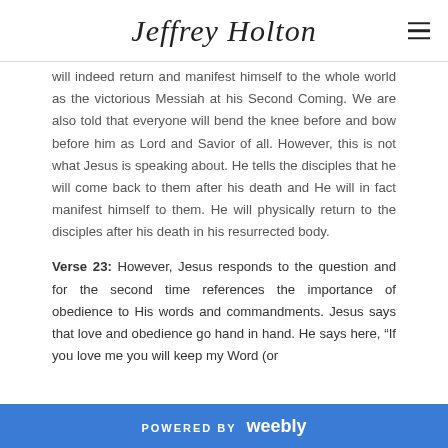Jeffrey Holton
will indeed return and manifest himself to the whole world as the victorious Messiah at his Second Coming.  We are also told that everyone will bend the knee before and bow before him as Lord and Savior of all.  However, this is not what Jesus is speaking about.  He tells the disciples that he will come back to them after his death and He will in fact manifest himself to them.  He will physically return to the disciples after his death in his resurrected body.
Verse 23:  However, Jesus responds to the question and for the second time references the importance of obedience to His words and commandments.  Jesus says that love and obedience go hand in hand.  He says here, “If you love me you will keep my Word (or
POWERED BY weebly